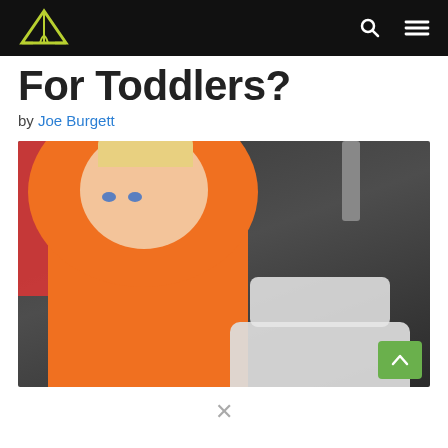Navigation bar with logo and menu icons
For Toddlers?
by Joe Burgett
[Figure (photo): A young toddler wearing an orange hoodie sitting inside a tent, with a red fabric and dark tent walls in the background and white pillows/bedding around them. A green scroll-to-top button appears in the bottom right corner of the image.]